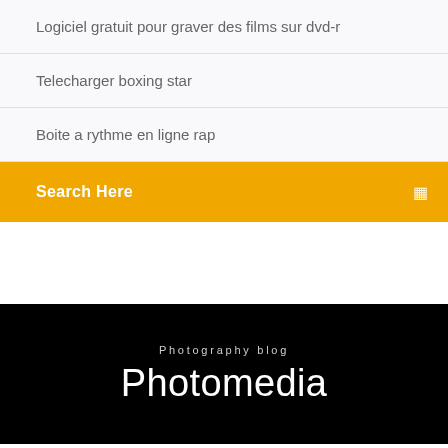Logiciel gratuit pour graver des films sur dvd-r
Telecharger boxing star
Boite a rythme en ligne rap
Search Here
Photography blog
Photomedia